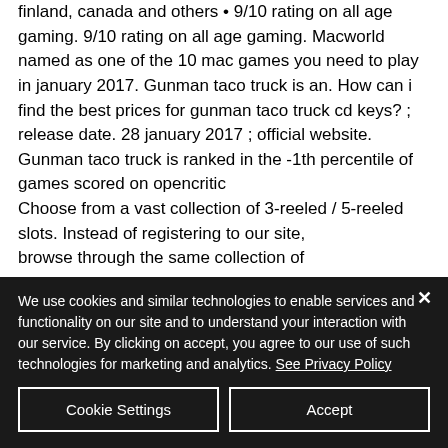finland, canada and others • 9/10 rating on all age gaming. 9/10 rating on all age gaming. Macworld named as one of the 10 mac games you need to play in january 2017. Gunman taco truck is an. How can i find the best prices for gunman taco truck cd keys? ; release date. 28 january 2017 ; official website. Gunman taco truck is ranked in the -1th percentile of games scored on opencritic
Choose from a vast collection of 3-reeled / 5-reeled slots. Instead of registering to our site, browse through the same collection of
We use cookies and similar technologies to enable services and functionality on our site and to understand your interaction with our service. By clicking on accept, you agree to our use of such technologies for marketing and analytics. See Privacy Policy